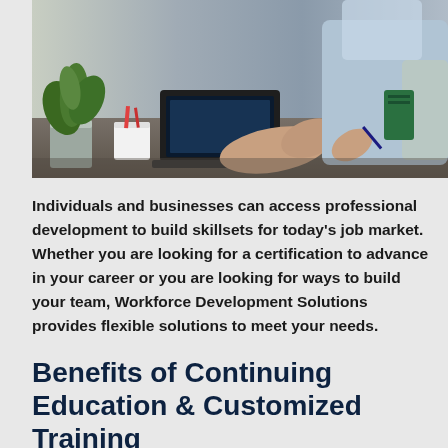[Figure (photo): Office scene with a plant in a metallic pot, a white cup with pens, a laptop computer, and two people working at a desk — one typing on the laptop, another holding a pen reviewing documents.]
Individuals and businesses can access professional development to build skillsets for today's job market. Whether you are looking for a certification to advance in your career or you are looking for ways to build your team, Workforce Development Solutions provides flexible solutions to meet your needs.
Benefits of Continuing Education & Customized Training